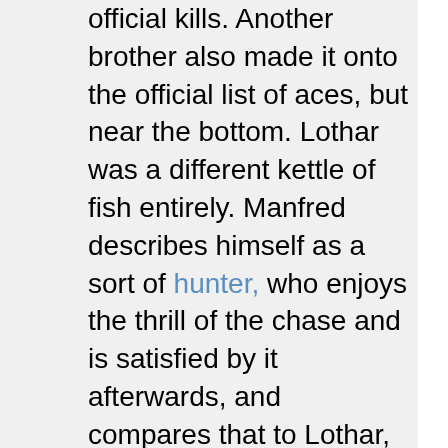official kills. Another brother also made it onto the official list of aces, but near the bottom. Lothar was a different kettle of fish entirely. Manfred describes himself as a sort of hunter, who enjoys the thrill of the chase and is satisfied by it afterwards, and compares that to Lothar, whom he says is a butcher. Each of the Richthofen brothers was Freiherr and Ace in his turn, hence the presence of three Freiherr Richthofen's in the list of aces.
In July 1917, Richthofen was shot down but survived. The head wound he received changed him somewhat: photos start to show the fated-to-die look that took all the great flying aces before